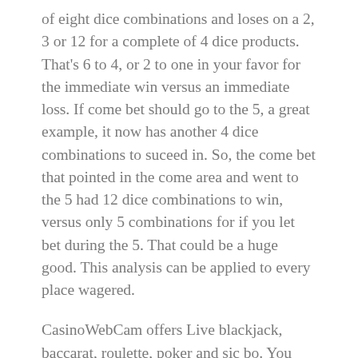of eight dice combinations and loses on a 2, 3 or 12 for a complete of 4 dice products. That's 6 to 4, or 2 to one in your favor for the immediate win versus an immediate loss. If come bet should go to the 5, a great example, it now has another 4 dice combinations to suceed in. So, the come bet that pointed in the come area and went to the 5 had 12 dice combinations to win, versus only 5 combinations for if you let bet during the 5. That could be a huge good. This analysis can be applied to every place wagered.
CasinoWebCam offers Live blackjack, baccarat, roulette, poker and sic bo. You don't even to help download any software when you have choosing to play their Flash casino or download use.
They likewise slightly reserved and quiet and